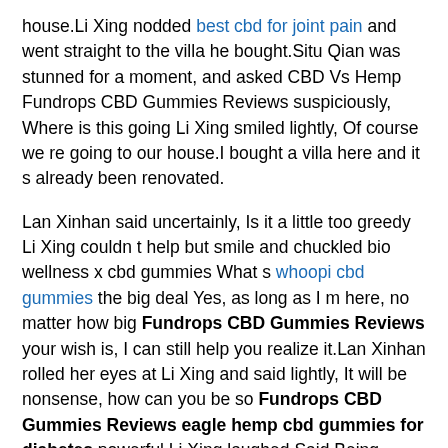house.Li Xing nodded best cbd for joint pain and went straight to the villa he bought.Situ Qian was stunned for a moment, and asked CBD Vs Hemp Fundrops CBD Gummies Reviews suspiciously, Where is this going Li Xing smiled lightly, Of course we re going to our house.I bought a villa here and it s already been renovated.
Lan Xinhan said uncertainly, Is it a little too greedy Li Xing couldn t help but smile and chuckled bio wellness x cbd gummies What s whoopi cbd gummies the big deal Yes, as long as I m here, no matter how big Fundrops CBD Gummies Reviews your wish is, I can still help you realize it.Lan Xinhan rolled her eyes at Li Xing and said lightly, It will be nonsense, how can you be so Fundrops CBD Gummies Reviews eagle hemp cbd gummies for diabetes powerful.Li Xing laughed Said Being stronger every day, the accumulation of small amounts can always achieve the goal.As long as you don t stand still, it is already progress.Lan Xinhan nodded, and then wrote her own on the river lantern.Wishing, Li Xing probed to see, Lan Xinhan covered it, slanted Li Xing and said, Stay on the side.Li Xing spread his hands, took a few steps back, and pulled away with Lan Xinhan distance, and then put the river